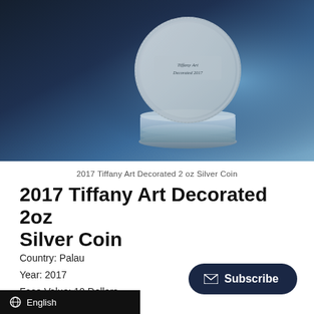[Figure (photo): Photo of a 2017 Tiffany Art Decorated 2 oz Silver Coin in a clear capsule holder, set against a blue gradient background]
2017 Tiffany Art Decorated 2 oz Silver Coin
2017 Tiffany Art Decorated 2oz Silver Coin
Country: Palau
Year: 2017
Face Value: 10 Dollars
Metal: Silver .999
Weight: approx. 2 oz